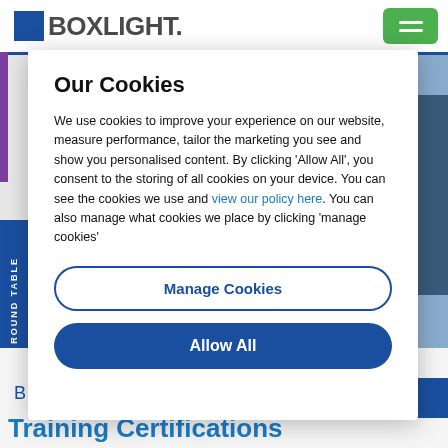[Figure (screenshot): Boxlight website header with blue logo, blue horizontal rule, green hamburger menu button, purple accent bar, blue sidebar with ROUND TABLE text, and person photo on right side]
Our Cookies
We use cookies to improve your experience on our website, measure performance, tailor the marketing you see and show you personalised content. By clicking ‘Allow All’, you consent to the storing of all cookies on your device. You can see the cookies we use and view our policy here. You can also manage what cookies we place by clicking ‘manage cookies’
Manage Cookies
Allow All
Training Certifications